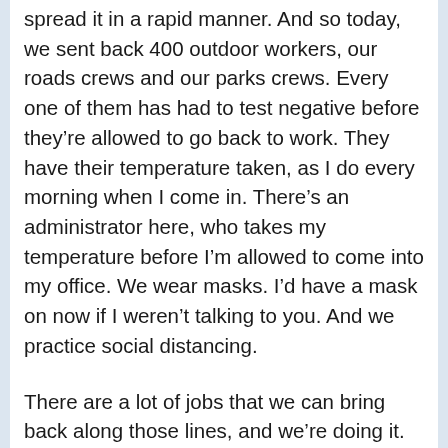spread it in a rapid manner. And so today, we sent back 400 outdoor workers, our roads crews and our parks crews. Every one of them has had to test negative before they're allowed to go back to work. They have their temperature taken, as I do every morning when I come in. There's an administrator here, who takes my temperature before I'm allowed to come into my office. We wear masks. I'd have a mask on now if I weren't talking to you. And we practice social distancing.
There are a lot of jobs that we can bring back along those lines, and we're doing it. There's other jobs where–and there's been a lot of trend in this country and office space, as you well know–away from private offices and into large workspaces with people sitting next to each other in cubicles or along along tables with workstations in front of them. It's